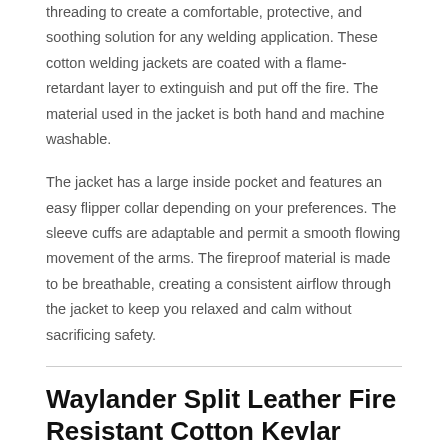threading to create a comfortable, protective, and soothing solution for any welding application. These cotton welding jackets are coated with a flame-retardant layer to extinguish and put off the fire. The material used in the jacket is both hand and machine washable.
The jacket has a large inside pocket and features an easy flipper collar depending on your preferences. The sleeve cuffs are adaptable and permit a smooth flowing movement of the arms. The fireproof material is made to be breathable, creating a consistent airflow through the jacket to keep you relaxed and calm without sacrificing safety.
Waylander Split Leather Fire Resistant Cotton Kevlar Welding Jacket – 2XL
The Waylander Welding Jacket 2XL model is a premium jacket of